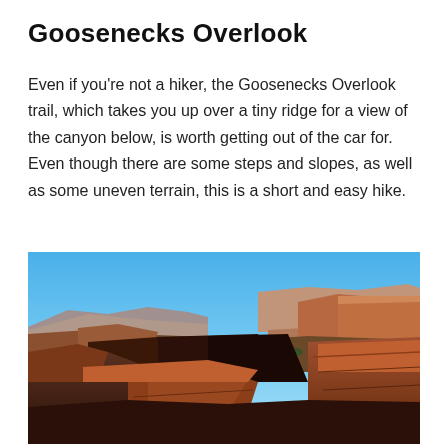Goosenecks Overlook
Even if you're not a hiker, the Goosenecks Overlook trail, which takes you up over a tiny ridge for a view of the canyon below, is worth getting out of the car for. Even though there are some steps and slopes, as well as some uneven terrain, this is a short and easy hike.
[Figure (photo): Panoramic photograph of Goosenecks canyon landscape with red rock formations, deep canyon valleys, and blue sky with distant mesa plateaus in the background.]